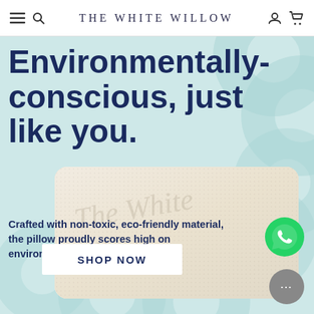THE WHITE WILLOW
Environmentally-conscious, just like you.
[Figure (photo): Close-up of a white pillow with embossed texture, shown in a rounded card]
Crafted with non-toxic, eco-friendly material, the pillow proudly scores high on environment-friendliness.
SHOP NOW